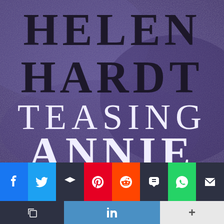[Figure (illustration): Book cover for 'Teasing Annie' by Helen Hardt. Purple textured background with author name 'HELEN HARDT' in large dark serif font at top, and book title 'TEASING ANNIE' in large white serif font below.]
[Figure (screenshot): Social media sharing toolbar with buttons for Facebook, Twitter, Buffer, Pinterest, Reddit, SMS, WhatsApp, Email, Copy, LinkedIn, and More (+).]